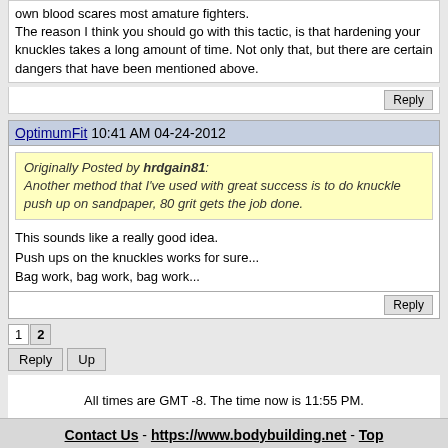own blood scares most amature fighters. The reason I think you should go with this tactic, is that hardening your knuckles takes a long amount of time. Not only that, but there are certain dangers that have been mentioned above.
Reply
OptimumFit 10:41 AM 04-24-2012
Originally Posted by hrdgain81: Another method that I've used with great success is to do knuckle push up on sandpaper, 80 grit gets the job done.
This sounds like a really good idea.
Push ups on the knuckles works for sure...
Bag work, bag work, bag work...
Reply
1 2
Reply   Up
All times are GMT -8. The time now is 11:55 PM.
Contact Us - https://www.bodybuilding.net - Top
Powered by vBulletin® Version 3.8.11
Copyright ©2000 - 2022, vBulletin Solutions Inc.